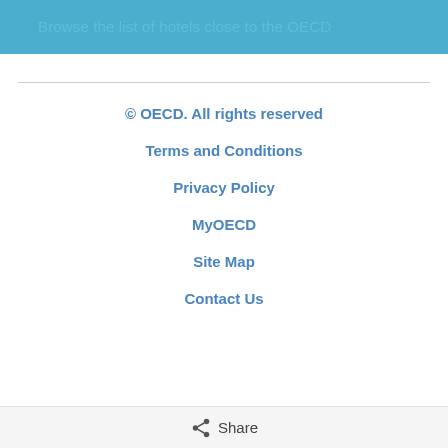Browse the list of hotels close to the OECD
© OECD. All rights reserved
Terms and Conditions
Privacy Policy
MyOECD
Site Map
Contact Us
Share